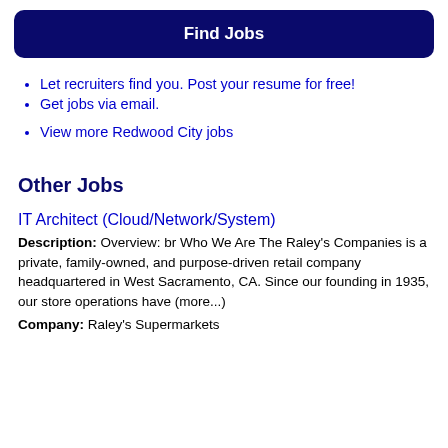Find Jobs
Let recruiters find you. Post your resume for free!
Get jobs via email.
View more Redwood City jobs
Other Jobs
IT Architect (Cloud/Network/System)
Description: Overview: br Who We Are The Raley's Companies is a private, family-owned, and purpose-driven retail company headquartered in West Sacramento, CA. Since our founding in 1935, our store operations have (more...)
Company: Raley's Supermarkets